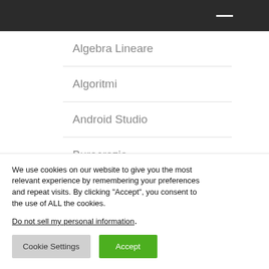Algebra Lineare
Algoritmi
Android Studio
Burocrazia
(partial item, cut off)
We use cookies on our website to give you the most relevant experience by remembering your preferences and repeat visits. By clicking “Accept”, you consent to the use of ALL the cookies.
Do not sell my personal information.